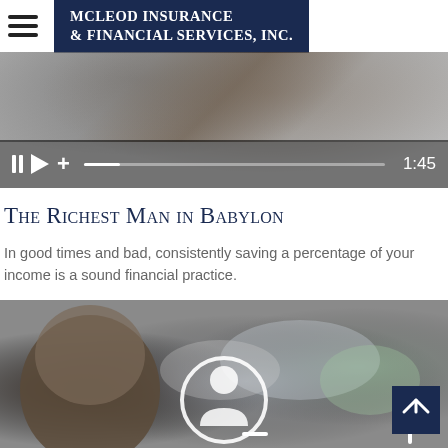McLeod Insurance & Financial Services, Inc.
[Figure (screenshot): Video player showing blurry hands with a microphone, playback controls (pause, play, volume) with a progress bar and time display showing 1:45]
The Richest Man in Babylon
In good times and bad, consistently saving a percentage of your income is a sound financial practice.
[Figure (photo): Blurry photo of a speaker from behind facing an audience in a lecture hall, with a profile/person icon overlay and navigation controls including minus and plus buttons and a scroll-to-top button]